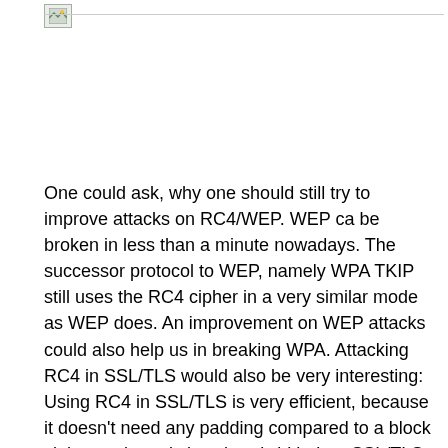[Figure (photo): Small broken/placeholder image icon in the top left area]
One could ask, why one should still try to improve attacks on RC4/WEP. WEP ca be broken in less than a minute nowadays. The successor protocol to WEP, namely WPA TKIP still uses the RC4 cipher in a very similar mode as WEP does. An improvement on WEP attacks could also help us in breaking WPA. Attacking RC4 in SSL/TLS would also be very interesting: Using RC4 in SSL/TLS is very efficient, because it doesn't need any padding compared to a block cipher and needs less bandwidth than SSL/TLS using a block cipher does. A good attack on RC4 could render SSL/TLS connections insecure.
Personally, I am very interested in this talk, because I worked on attacking WEP in my diploma thesis and the last generation of